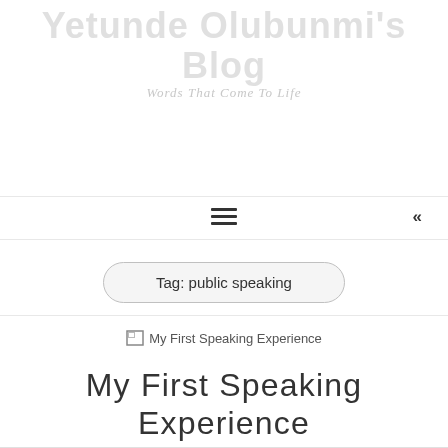Yetunde Olubunmi's Blog – Words That Come To Life
Tag: public speaking
[Figure (illustration): Broken image placeholder for 'My First Speaking Experience' article thumbnail]
My First Speaking Experience